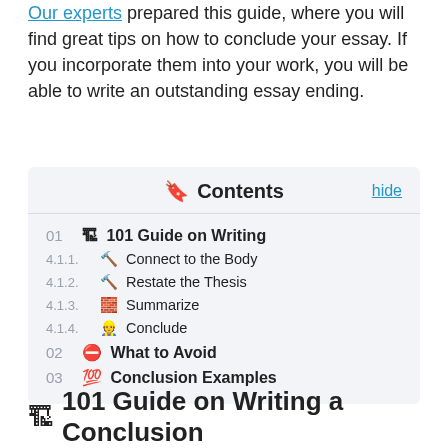Our experts prepared this guide, where you will find great tips on how to conclude your essay. If you incorporate them into your work, you will be able to write an outstanding essay ending.
Contents
01 🏗 101 Guide on Writing
4.1.1. 🔨 Connect to the Body
4.1.2. 🔨 Restate the Thesis
4.1.3. 🧱 Summarize
4.1.4. 👷 Conclude
02 🚫 What to Avoid
03 💯 Conclusion Examples
🏗 101 Guide on Writing a Conclusion